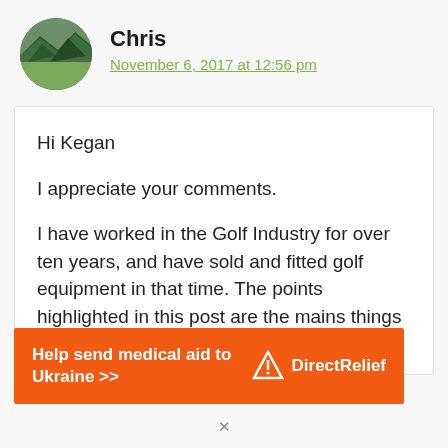[Figure (photo): Circular avatar photo of a landscape/mountain scene with green trees]
Chris
November 6, 2017 at 12:56 pm
Hi Kegan

I appreciate your comments.

I have worked in the Golf Industry for over ten years, and have sold and fitted golf equipment in that time. The points highlighted in this post are the mains things to
[Figure (infographic): Orange advertisement banner reading 'Help send medical aid to Ukraine >>' with Direct Relief logo on the right]